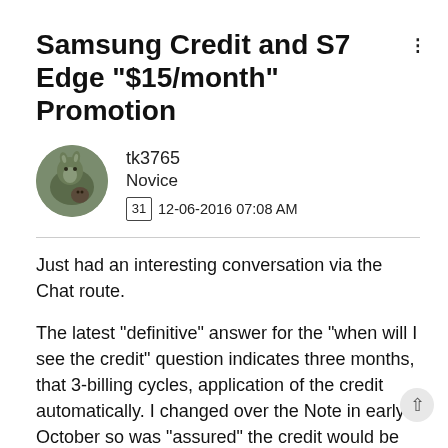Samsung Credit and S7 Edge "$15/month" Promotion
tk3765
Novice
31 12-06-2016 07:08 AM
Just had an interesting conversation via the Chat route.
The latest "definitive" answer for the "when will I see the credit" question indicates three months, that 3-billing cycles, application of the credit automatically.  I changed over the Note in early October so was "assured" the credit would be applied to the January bill.  I didn't specifically ask about the return and that processing as to which date was being used but the feeling I got was that